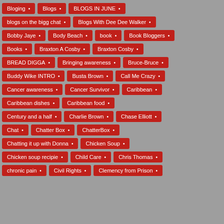Bloging •
Blogs •
BLOGS IN JUNE •
blogs on the bigg chat •
Blogs With Dee Dee Walker •
Bobby Jaye •
Body Beach •
book •
Book Bloggers •
Books •
Braxton A Cosby •
Braxton Cosby •
BREAD DIGGA •
Bringing awareness •
Bruce-Bruce •
Buddy Wike INTRO •
Busta Brown •
Call Me Crazy •
Cancer awareness •
Cancer Survivor •
Caribbean •
Caribbean dishes •
Caribbean food •
Century and a half •
Charlie Brown •
Chase Elliott •
Chat •
Chatter Box •
ChatterBox •
Chatting it up with Donna •
Chicken Soup •
Chicken soup recipie •
Child Care •
Chris Thomas •
chronic pain •
Civil Rights •
Clemency from Prison •